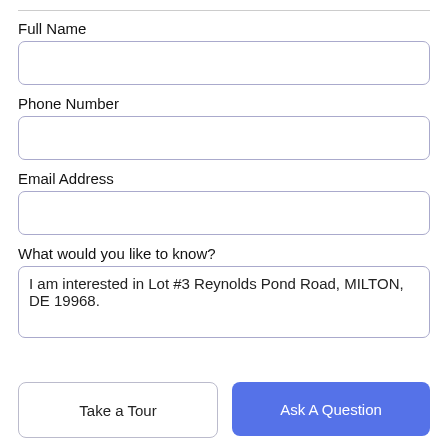Full Name
[Figure (other): Empty text input field for Full Name]
Phone Number
[Figure (other): Empty text input field for Phone Number]
Email Address
[Figure (other): Empty text input field for Email Address]
What would you like to know?
[Figure (other): Textarea pre-filled with: I am interested in Lot #3 Reynolds Pond Road, MILTON, DE 19968.]
Take a Tour
Ask A Question